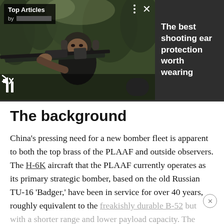[Figure (screenshot): Video player banner showing a soldier aiming a rifle in a forest, with 'Top Articles' overlay badge, pause/mute controls, and a dark side panel advertising 'The best shooting ear protection worth wearing']
The background
China's pressing need for a new bomber fleet is apparent to both the top brass of the PLAAF and outside observers. The H-6K aircraft that the PLAAF currently operates as its primary strategic bomber, based on the old Russian TU-16 'Badger,' have been in service for over 40 years, roughly equivalent to the freakishly durable B-52 but with a shorter range and lower payload capacity. The United States plans on